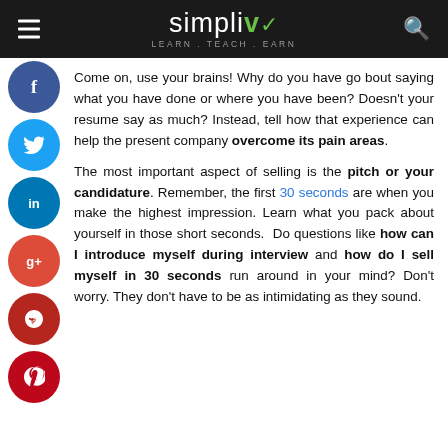simpliv — Learn. Teach. Earn.
Come on, use your brains! Why do you have go bout saying what you have done or where you have been? Doesn't your resume say as much? Instead, tell how that experience can help the present company overcome its pain areas.
The most important aspect of selling is the pitch or your candidature. Remember, the first 30 seconds are when you make the highest impression. Learn what you pack about yourself in those short seconds. Do questions like how can I introduce myself during interview and how do I sell myself in 30 seconds run around in your mind? Don't worry. They don't have to be as intimidating as they sound.